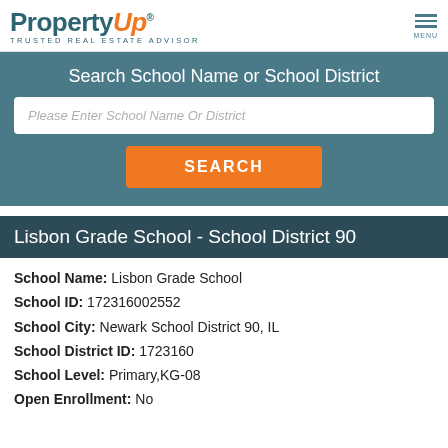PropertyUp® TRUSTED REAL ESTATE ADVISOR
Search School Name or School District
Please Enter School Name Or District
SEARCH
Lisbon Grade School - School District 90
School Name: Lisbon Grade School
School ID: 172316002552
School City: Newark School District 90, IL
School District ID: 1723160
School Level: Primary,KG-08
Open Enrollment: No